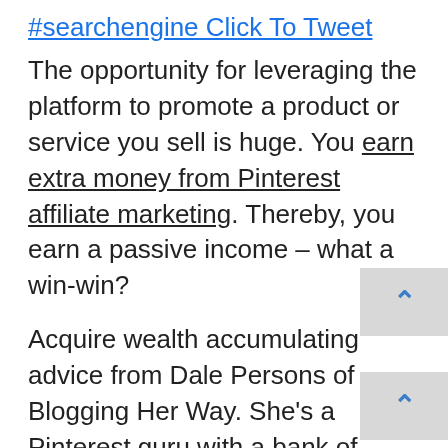#searchengine Click To Tweet
The opportunity for leveraging the platform to promote a product or service you sell is huge. You earn extra money from Pinterest affiliate marketing. Thereby, you earn a passive income – what a win-win?
Acquire wealth accumulating advice from Dale Persons of Blogging Her Way. She's a Pinterest guru with a bank of experience in matters Pinterest and earning passive income. Grasp the Pinterest algorithm guide.
See the leaps and bounds from her neat and